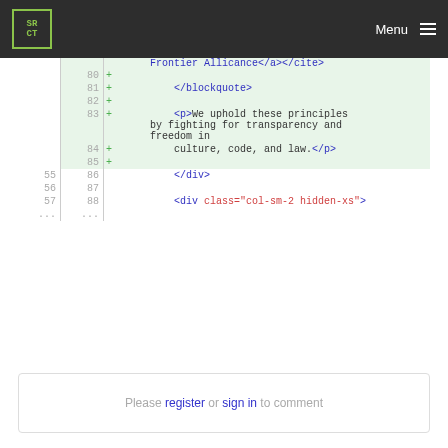SRCT Menu
[Figure (screenshot): Code diff view showing HTML lines 80-88 with added lines (green background) and normal lines. Line 80-85 are added lines showing blockquote closing tag and paragraph about transparency. Lines 55/86, 56/87, 57/88 are normal lines showing div tags.]
Please register or sign in to comment